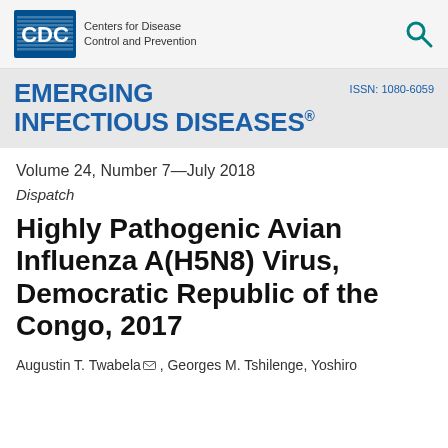[Figure (logo): CDC (Centers for Disease Control and Prevention) logo with blue CDC box and text, and a teal search icon on the right]
EMERGING INFECTIOUS DISEASES® ISSN: 1080-6059
Volume 24, Number 7—July 2018
Dispatch
Highly Pathogenic Avian Influenza A(H5N8) Virus, Democratic Republic of the Congo, 2017
Augustin T. Twabela, Georges M. Tshilenge, Yoshiro